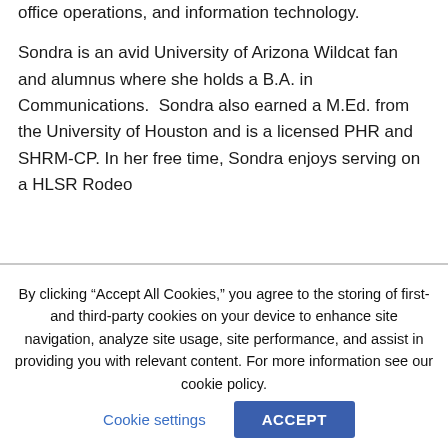office operations, and information technology.
Sondra is an avid University of Arizona Wildcat fan and alumnus where she holds a B.A. in Communications.  Sondra also earned a M.Ed. from the University of Houston and is a licensed PHR and SHRM-CP. In her free time, Sondra enjoys serving on a HLSR Rodeo
By clicking “Accept All Cookies,” you agree to the storing of first- and third-party cookies on your device to enhance site navigation, analyze site usage, site performance, and assist in providing you with relevant content. For more information see our cookie policy.
Cookie settings
ACCEPT